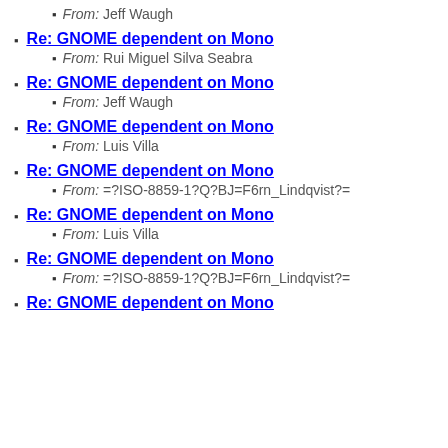From: Jeff Waugh
Re: GNOME dependent on Mono
From: Rui Miguel Silva Seabra
Re: GNOME dependent on Mono
From: Jeff Waugh
Re: GNOME dependent on Mono
From: Luis Villa
Re: GNOME dependent on Mono
From: =?ISO-8859-1?Q?BJ=F6rn_Lindqvist?=
Re: GNOME dependent on Mono
From: Luis Villa
Re: GNOME dependent on Mono
From: =?ISO-8859-1?Q?BJ=F6rn_Lindqvist?=
Re: GNOME dependent on Mono